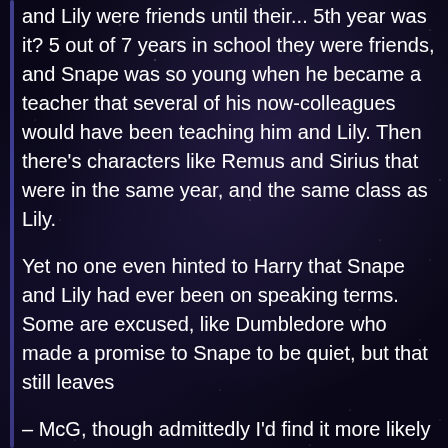and Lily were friends until their... 5th year was it? 5 out of 7 years in school they were friends, and Snape was so young when he became a teacher that several of his now-colleagues would have been teaching him and Lily. Then there's characters like Remus and Sirius that were in the same year, and the same class as Lily.
Yet no one even hinted to Harry that Snape and Lily had ever been on speaking terms. Some are excused, like Dumbledore who made a promise to Snape to be quiet, but that still leaves
– McG, though admittedly I'd find it more likely that she just tells Snape off for harassing one of her students and leaves it at that.